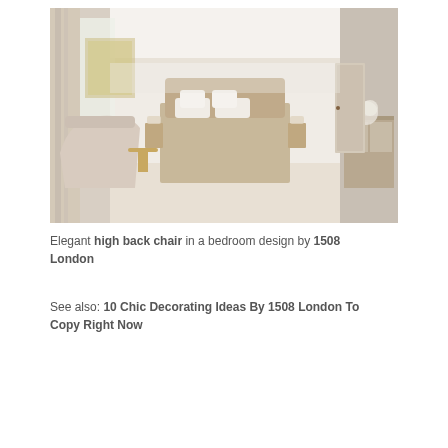[Figure (photo): Elegant bedroom interior with a high back chair in the foreground left, a large upholstered bed in the center, neutral cream and beige tones throughout, floor-length curtains, a mirrored dressing table on the right, and a framed artwork on the wall.]
Elegant high back chair in a bedroom design by 1508 London
See also: 10 Chic Decorating Ideas By 1508 London To Copy Right Now